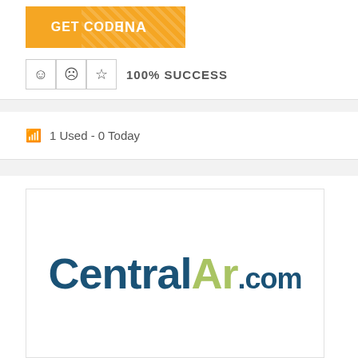[Figure (screenshot): Orange GET CODE button with diagonal stripe pattern showing partial coupon code 'INA']
100% SUCCESS
1 Used - 0 Today
[Figure (logo): CentralAr.com logo with dark blue 'Central' text and olive green 'Ar' text followed by dark blue '.com']
Newest Coupon! 2% discount on Split Cassette air